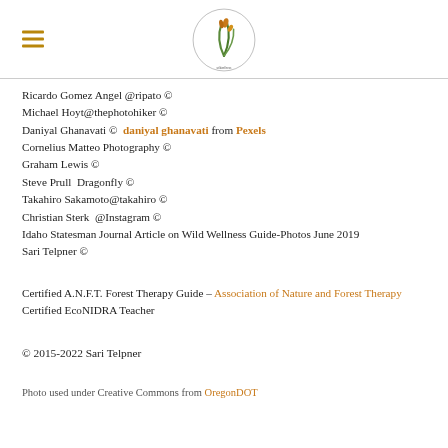[Figure (logo): Circular nature/plant logo with green and orange leaf/grass design, website name around the border]
Ricardo Gomez Angel @ripato ©
Michael Hoyt@thephotohiker ©
Daniyal Ghanavati © daniyal ghanavati from Pexels
Cornelius Matteo Photography ©
Graham Lewis ©
Steve Prull Dragonfly ©
Takahiro Sakamoto@takahiro ©
Christian Sterk @Instagram ©
Idaho Statesman Journal Article on Wild Wellness Guide-Photos June 2019
Sari Telpner ©
Certified A.N.F.T. Forest Therapy Guide - Association of Nature and Forest Therapy
Certified EcoNIDRA Teacher
© 2015-2022 Sari Telpner
Photo used under Creative Commons from OregonDOT